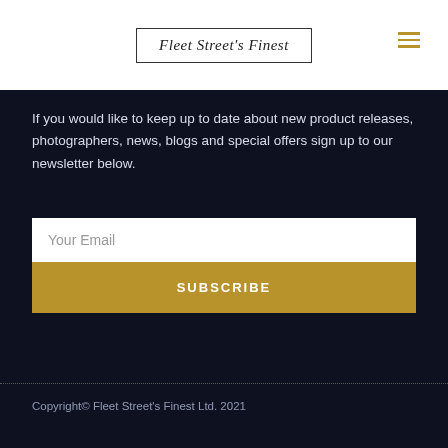Fleet Street's Finest
If you would like to keep up to date about new product releases, photographers, news, blogs and special offers sign up to our newsletter below.
[Figure (other): Email subscription form with a white email input field labeled 'Your Email' and a gold 'SUBSCRIBE' button below it]
Copyright© Fleet Street's Finest Ltd. 2021